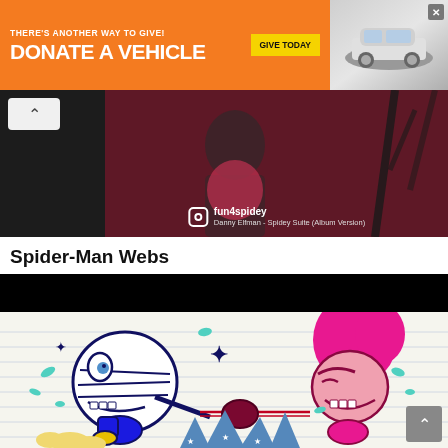[Figure (infographic): Orange advertisement banner: 'THERE'S ANOTHER WAY TO GIVE! DONATE A VEHICLE' with yellow GIVE TODAY button and car image on right, close X button]
[Figure (screenshot): Video thumbnail showing a person in dark room, Instagram overlay with fun4spidey handle and Danny Elfman - Spidey Suite (Album Version) song, with back chevron button]
Spider-Man Webs
[Figure (screenshot): Animated cartoon screenshot showing two cartoon characters fighting - a blue/white character on left and a pink-haired character on right, on lined paper background. Black bar at top. Scroll-to-top button at bottom right.]